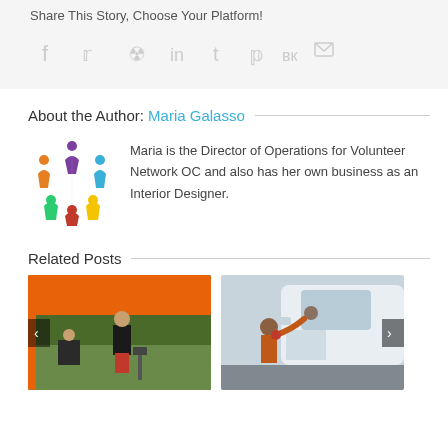Share This Story, Choose Your Platform!
[Figure (infographic): Social media share icons: Facebook, Twitter, Reddit, LinkedIn, Tumblr, Pinterest, VK, Email]
About the Author: Maria Galasso
[Figure (logo): Volunteer Network OC colorful star/people logo]
Maria is the Director of Operations for Volunteer Network OC and also has her own business as an Interior Designer.
Related Posts
[Figure (photo): Woman in black top at outdoor event under orange tent with a man seated nearby]
[Figure (photo): Child reaching into a car window, receiving something from an adult inside a white vehicle]